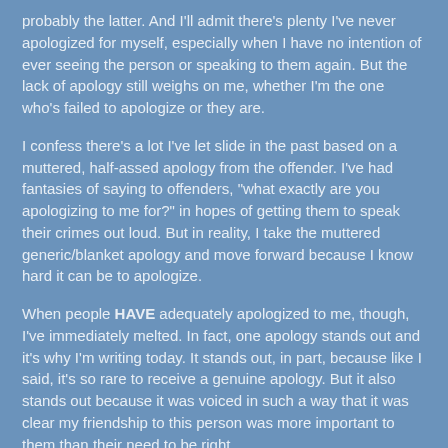probably the latter. And I'll admit there's plenty I've never apologized for myself, especially when I have no intention of ever seeing the person or speaking to them again. But the lack of apology still weighs on me, whether I'm the one who's failed to apologize or they are.
I confess there's a lot I've let slide in the past based on a muttered, half-assed apology from the offender. I've had fantasies of saying to offenders, "what exactly are you apologizing to me for?" in hopes of getting them to speak their crimes out loud. But in reality, I take the muttered generic/blanket apology and move forward because I know hard it can be to apologize.
When people HAVE adequately apologized to me, though, I've immediately melted. In fact, one apology stands out and it's why I'm writing today. It stands out, in part, because like I said, it's so rare to receive a genuine apology. But it also stands out because it was voiced in such a way that it was clear my friendship to this person was more important to them than their need to be right.